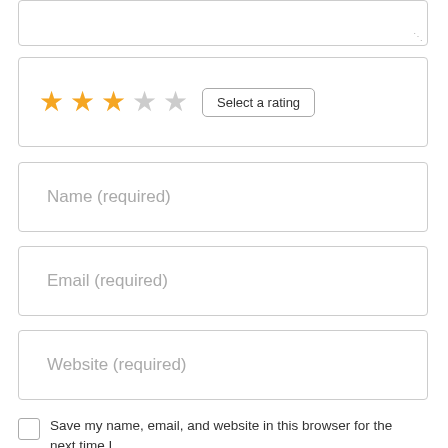[Figure (screenshot): Textarea input box (top of page, partially visible)]
[Figure (screenshot): Star rating widget with 2.5 stars filled (orange) and 2.5 empty (grey), and a 'Select a rating' button]
[Figure (screenshot): Name (required) input field]
[Figure (screenshot): Email (required) input field]
[Figure (screenshot): Website (required) input field]
Save my name, email, and website in this browser for the next time I comment.
[Figure (screenshot): POST REVIEW button (blue) with scroll-to-top arrow button (grey) on right]
This site uses Akismet to reduce spam. Learn how your comment data is processed.